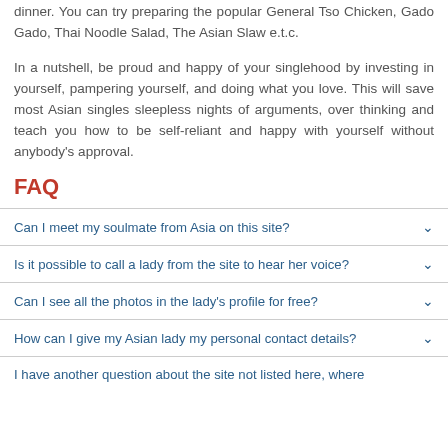dinner. You can try preparing the popular General Tso Chicken, Gado Gado, Thai Noodle Salad, The Asian Slaw e.t.c.
In a nutshell, be proud and happy of your singlehood by investing in yourself, pampering yourself, and doing what you love. This will save most Asian singles sleepless nights of arguments, over thinking and teach you how to be self-reliant and happy with yourself without anybody's approval.
FAQ
Can I meet my soulmate from Asia on this site?
Is it possible to call a lady from the site to hear her voice?
Can I see all the photos in the lady's profile for free?
How can I give my Asian lady my personal contact details?
I have another question about the site not listed here, where